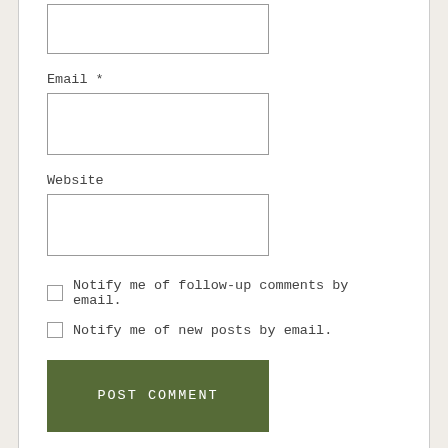Email *
Website
Notify me of follow-up comments by email.
Notify me of new posts by email.
POST COMMENT